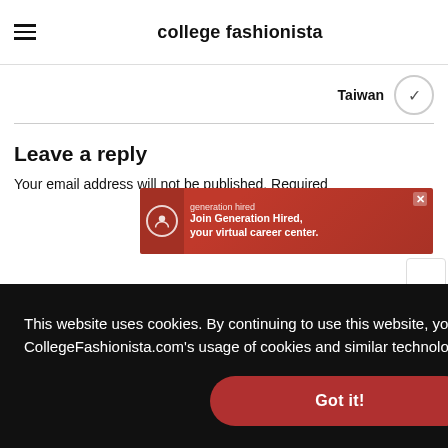college fashionista
Taiwan
Leave a reply
Your email address will not be published. Required
[Figure (screenshot): Generation Hired advertisement banner with red background, logo and text: Join Generation Hired, your virtual career center.]
This website uses cookies. By continuing to use this website, you consent to CollegeFashionista.com's usage of cookies and similar technologies. Learn more
Got it!